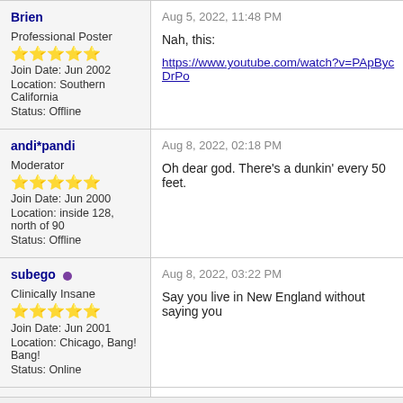| User | Post |
| --- | --- |
| Brien
Professional Poster
★★★★☆
Join Date: Jun 2002
Location: Southern California
Status: Offline | Aug 5, 2022, 11:48 PM
Nah, this:
https://www.youtube.com/watch?v=PApBycDrPo... |
| andi*pandi
Moderator
★★★★★
Join Date: Jun 2000
Location: inside 128, north of 90
Status: Offline | Aug 8, 2022, 02:18 PM
Oh dear god. There's a dunkin' every 50 feet. |
| subego •
Clinically Insane
★★★★★
Join Date: Jun 2001
Location: Chicago, Bang! Bang!
Status: Online | Aug 8, 2022, 03:22 PM
Say you live in New England without saying you... |